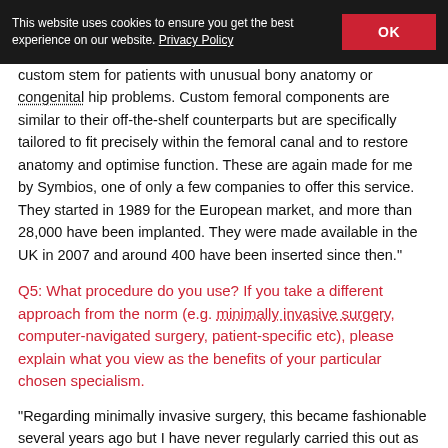This website uses cookies to ensure you get the best experience on our website. Privacy Policy | OK
custom stem for patients with unusual bony anatomy or congenital hip problems. Custom femoral components are similar to their off-the-shelf counterparts but are specifically tailored to fit precisely within the femoral canal and to restore anatomy and optimise function. These are again made for me by Symbios, one of only a few companies to offer this service. They started in 1989 for the European market, and more than 28,000 have been implanted. They were made available in the UK in 2007 and around 400 have been inserted since then."
Q5: What procedure do you use? If you take a different approach from the norm (e.g. minimally invasive surgery, computer-navigated surgery, patient-specific etc), please explain what you view as the benefits of your particular chosen specialism.
"Regarding minimally invasive surgery, this became fashionable several years ago but I have never regularly carried this out as in my opinion the most important objective in replacing a hip is to